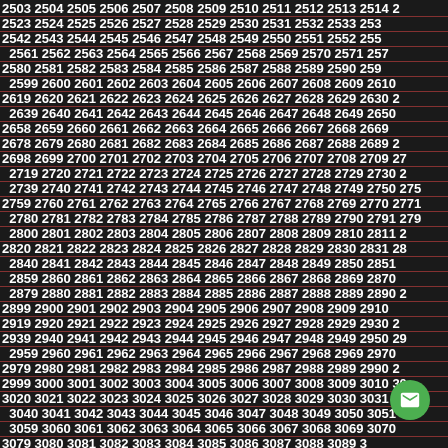Sequential number grid from 2503 to 3133, displayed in rows with red underlines, white bold text on dark background
[Figure (other): Green circular FAB button with envelope/mail icon in bottom right corner]